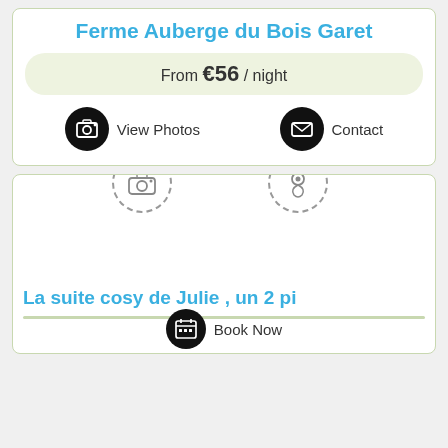Ferme Auberge du Bois Garet
From €56 / night
View Photos
Contact
[Figure (screenshot): Bottom listing card with camera icon, map pin icon, empty image area, suite title, divider, and Book Now button]
La suite cosy de Julie , un 2 pi
Book Now